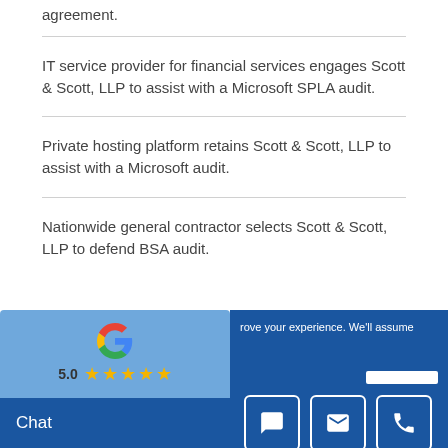agreement.
IT service provider for financial services engages Scott & Scott, LLP to assist with a Microsoft SPLA audit.
Private hosting platform retains Scott & Scott, LLP to assist with a Microsoft audit.
Nationwide general contractor selects Scott & Scott, LLP to defend BSA audit.
[Figure (other): Google review widget overlay showing Google logo and star rating]
[Figure (screenshot): Cookie consent and chat bar overlay with chat, email, and phone icon buttons]